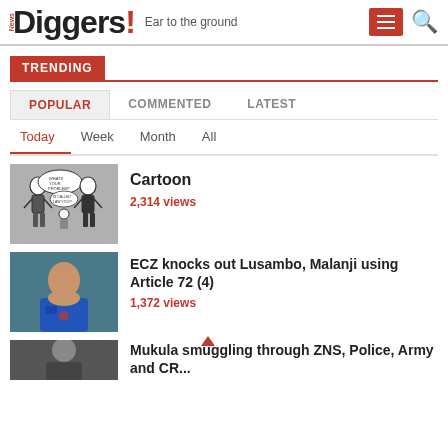News Diggers! Ear to the ground
TRENDING
POPULAR  COMMENTED  LATEST
Today  Week  Month  All
[Figure (illustration): Black and white political cartoon showing figures in suits]
Cartoon
2,314 views
[Figure (photo): Woman in blue jacket]
ECZ knocks out Lusambo, Malanji using Article 72 (4)
1,372 views
[Figure (photo): Partial photo at bottom]
Mukula smuggling through ZNS, Police, Army and CR...